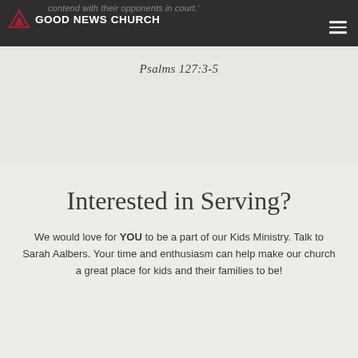contend with their opponents in court.'
[Figure (logo): Good News Church logo with red triangle/arrow icon and bold white text 'GOOD NEWS CHURCH' on dark background header bar]
Psalms 127:3-5
Interested in Serving?
We would love for YOU to be a part of our Kids Ministry. Talk to Sarah Aalbers. Your time and enthusiasm can help make our church a great place for kids and their families to be!